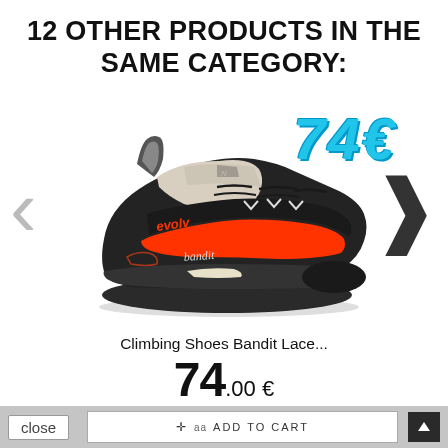12 OTHER PRODUCTS IN THE SAME CATEGORY:
[Figure (photo): Evolv Bandit Lace climbing shoe, black with red stripe and beige/cream interior padding, lace-up closure with v-notch lacing system, shown from side angle. Price overlay shows '74€' in large cyan/blue italic text.]
Climbing Shoes Bandit Lace...
74.00 €
close  aa  ADD TO CART